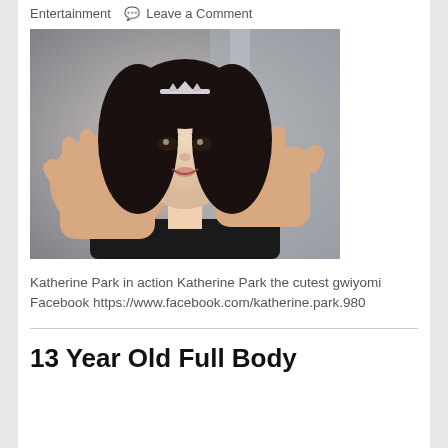Entertainment  Leave a Comment
[Figure (photo): A young woman wearing a small tiara with long dark hair, holding both hands up toward the camera with palms facing forward, appearing to press against a surface.]
Katherine Park in action Katherine Park the cutest gwiyomi Facebook https://www.facebook.com/katherine.park.980
13 Year Old Full Body